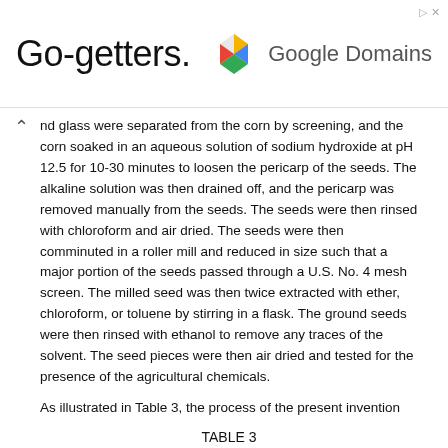[Figure (other): Google Domains advertisement banner with 'Go-getters.' text and Google Domains logo]
nd glass were separated from the corn by screening, and the corn soaked in an aqueous solution of sodium hydroxide at pH 12.5 for 10-30 minutes to loosen the pericarp of the seeds. The alkaline solution was then drained off, and the pericarp was removed manually from the seeds. The seeds were then rinsed with chloroform and air dried. The seeds were then comminuted in a roller mill and reduced in size such that a major portion of the seeds passed through a U.S. No. 4 mesh screen. The milled seed was then twice extracted with ether, chloroform, or toluene by stirring in a flask. The ground seeds were then rinsed with ethanol to remove any traces of the solvent. The seed pieces were then air dried and tested for the presence of the agricultural chemicals.
As illustrated in Table 3, the process of the present invention
| Extraction No. | Methoxychlor | Captan |
| --- | --- | --- |
| Ethylacetate |  |  |
TABLE 3
Amount Remaining (in ppm) Extraction No. Methoxychlor Captan
Ethylacetate